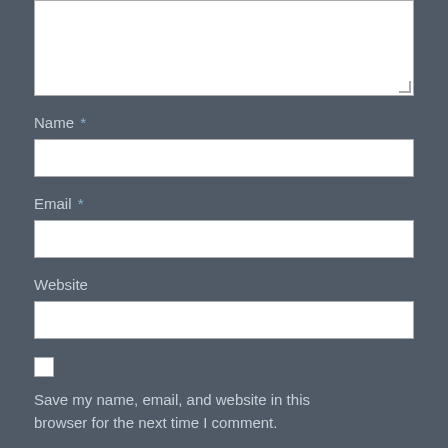[Figure (screenshot): Textarea input box with resize handle at bottom right]
Name *
[Figure (screenshot): Name text input field]
Email *
[Figure (screenshot): Email text input field]
Website
[Figure (screenshot): Website text input field]
[Figure (screenshot): Checkbox (unchecked)]
Save my name, email, and website in this browser for the next time I comment.